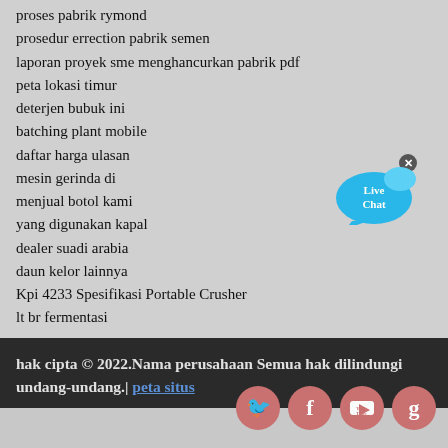proses pabrik rymond
prosedur errection pabrik semen
laporan proyek sme menghancurkan pabrik pdf
peta lokasi timur
deterjen bubuk ini
batching plant mobile
daftar harga ulasan
mesin gerinda di
menjual botol kami
yang digunakan kapal
dealer suadi arabia
daun kelor lainnya
Kpi 4233 Spesifikasi Portable Crusher
lt br fermentasi
[Figure (illustration): Live Chat speech bubble icon with 'Live Chat' text and an X close button]
hak cipta © 2022.Nama perusahaan Semua hak dilindungi undang-undang.| peta situs
[Figure (illustration): Social media icons: Twitter, Facebook, YouTube, Google+]